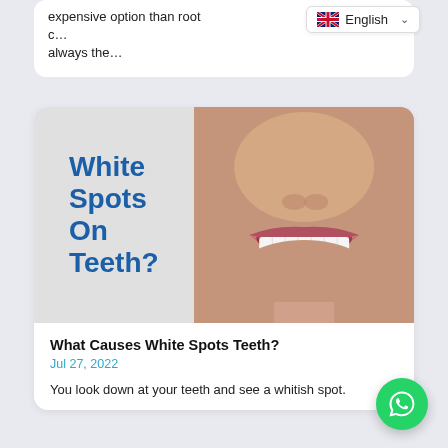expensive option than root c… always the…
[Figure (illustration): Article thumbnail showing two panels: left panel is a grey background with bold blue text reading 'White Spots On Teeth?'; right panel is a close-up photo of a smiling woman showing white teeth.]
What Causes White Spots Teeth?
Jul 27, 2022
You look down at your teeth and see a whitish spot.